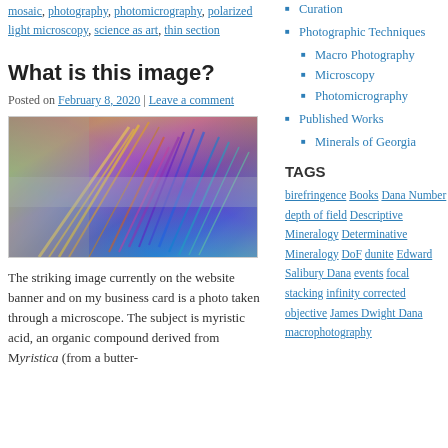mosaic, photography, photomicrography, polarized light microscopy, science as art, thin section
What is this image?
Posted on February 8, 2020 | Leave a comment
[Figure (photo): Colorful photomicrograph of myristic acid crystals under polarized light microscopy, showing feather-like crystal structures in yellow, orange, purple, blue, and teal colors against a silver-grey background]
The striking image currently on the website banner and on my business card is a photo taken through a microscope.  The subject is myristic acid, an organic compound derived from Myristica (from a butter-
Curation
Photographic Techniques
Macro Photography
Microscopy
Photomicrography
Published Works
Minerals of Georgia
TAGS
birefringence Books Dana Number depth of field Descriptive Mineralogy Determinative Mineralogy DoF dunite Edward Salibury Dana events focal stacking infinity corrected objective James Dwight Dana macrophotography